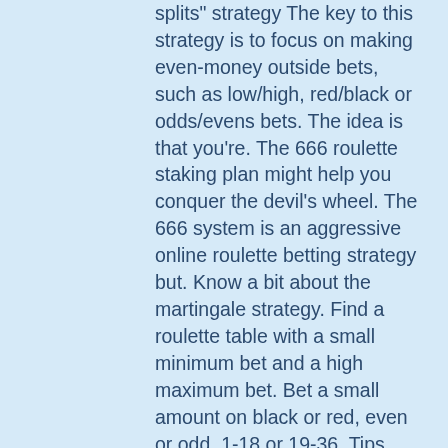splits" strategy The key to this strategy is to focus on making even-money outside bets, such as low/high, red/black or odds/evens bets. The idea is that you're. The 666 roulette staking plan might help you conquer the devil's wheel. The 666 system is an aggressive online roulette betting strategy but. Know a bit about the martingale strategy. Find a roulette table with a small minimum bet and a high maximum bet. Bet a small amount on black or red, even or odd, 1-18 or 19-36. Tips, tricks and strategies for winning in european roulette. Despite being a game of chance just like any other casino game,. Most roulette strategies rely on a progressive betting model. For example, you bet on the same even money bet every spin, and each time you. Learn how to win like the pros by joining the #1 roulette apprenticeship syndicate in the world roulette royals for the world's #1 roulette training course. Learn